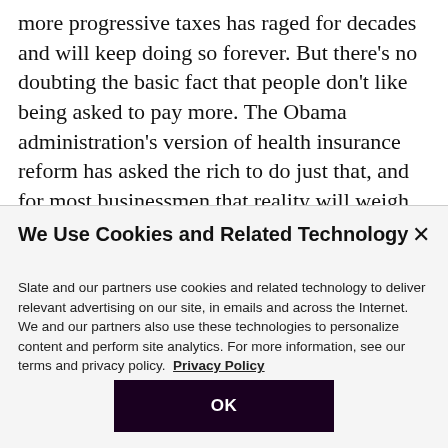more progressive taxes has raged for decades and will keep doing so forever. But there’s no doubting the basic fact that people don’t like being asked to pay more. The Obama administration’s version of health insurance reform has asked the rich to do just that, and for most businessmen that reality will weigh heavily on their thinking about it. But viewed narrowly as a reform to the insurance market the law—and especially the controversial mandate used to enable people to get
We Use Cookies and Related Technology
Slate and our partners use cookies and related technology to deliver relevant advertising on our site, in emails and across the Internet. We and our partners also use these technologies to personalize content and perform site analytics. For more information, see our terms and privacy policy. Privacy Policy
OK